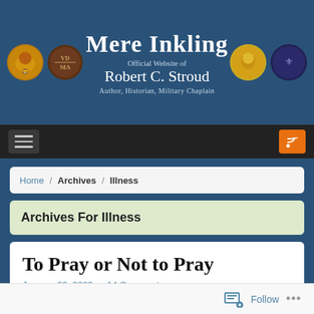Mere Inkling — Official Website of Robert C. Stroud — Author, Historian, Military Chaplain
Home / Archives / Illness
Archives For Illness
To Pray or Not to Pray
January 29, 2022 — 14 Comments
[Figure (photo): Partial dark photo visible at bottom of page]
Follow